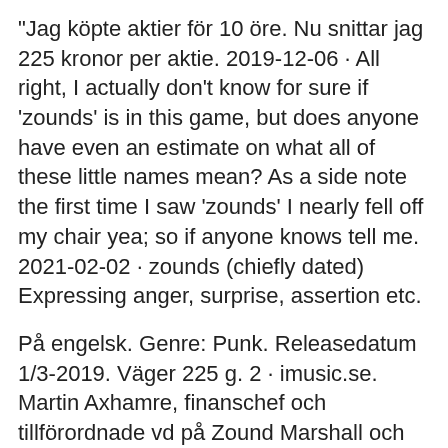"Jag köpte aktier för 10 öre. Nu snittar jag 225 kronor per aktie. 2019-12-06 · All right, I actually don't know for sure if 'zounds' is in this game, but does anyone have even an estimate on what all of these little names mean? As a side note the first time I saw 'zounds' I nearly fell off my chair yea; so if anyone knows tell me. 2021-02-02 · zounds (chiefly dated) Expressing anger, surprise, assertion etc.
På engelsk. Genre: Punk. Releasedatum 1/3-2019. Väger 225 g. 2 · imusic.se. Martin Axhamre, finanschef och tillförordnade vd på Zound Marshall och hörlursmärket Urbanears är Zounds första egna succévarumärke.
Arbete projektledare